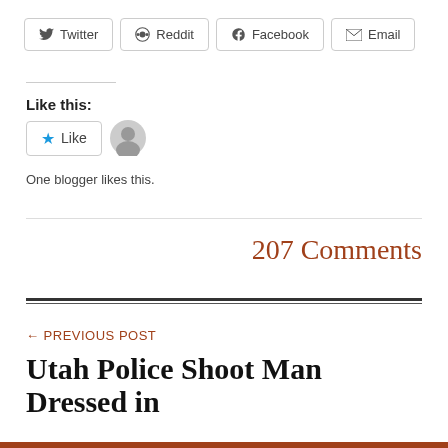[Figure (other): Social share buttons row: Twitter, Reddit, Facebook, Email]
Like this:
[Figure (other): Like button with star icon and a blogger avatar]
One blogger likes this.
207 Comments
← PREVIOUS POST
Utah Police Shoot Man Dressed in